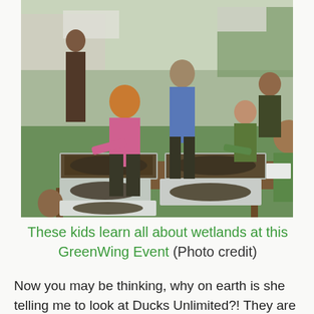[Figure (photo): Outdoor event where a woman in a pink shirt and several children and adults are gathered around a wooden table examining trays of wetland plants/mud. Green grass and tents visible in the background. A GreenWing educational event about wetlands.]
These kids learn all about wetlands at this GreenWing Event (Photo credit)
Now you may be thinking, why on earth is she telling me to look at Ducks Unlimited?! They are